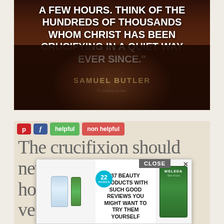[Figure (photo): Dark portrait of Samuel Butler with quote overlay on dark reddish-brown background]
A FEW HOURS. THINK OF THE HUNDREDS OF THOUSANDS WHOM CHRIST HAS BEEN CRUCIFYING IN A QUIET WAY EVER SINCE."
SAMUEL BUTLER
[Figure (screenshot): Webpage showing social buttons (Pinterest, Facebook, helpful, non helpful) and article text 'The crucifixion should never be depicted. It is a ho... ve...' with advertisement overlay showing '37 BEAUTY PRODUCTS WITH SUCH GOOD REVIEWS YOU MIGHT WANT TO TRY THEM YOURSELF' with CLOSE button and product images]
The crucifixion should never be depicted. It is a ho... ve...
37 BEAUTY PRODUCTS WITH SUCH GOOD REVIEWS YOU MIGHT WANT TO TRY THEM YOURSELF